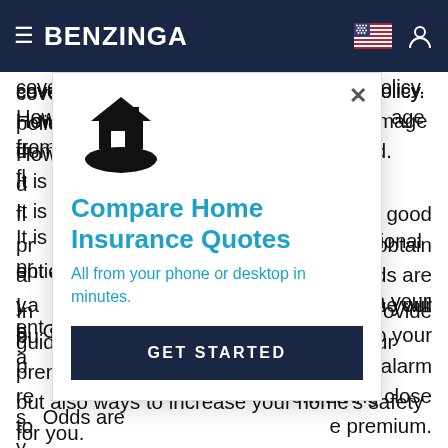BENZINGA
covered within a standard homeowners policy. However, most policies exclude direct damage from flood. It is good practice to review your current and obtain additional coverage options. Odds are you can find multiple options within your budget.
[Figure (illustration): Compare Home Insurance Quotes modal popup with house-on-hand icon, title 'Compare Home Insurance Quotes', subtitle 'All from your phone or desktop in minutes.', and a 'GET STARTED' button. Modal has an X close button in top right.]
Last but certainly not least, the size of your house will play a role in determining premiums to your policy. Other factors such as monitored alarm response systems reduce the risk of theft. Living close to a fire station could also reduce the premium. In addition, your insurance agent can provide guidance on ways to not only reduce your premium, but also ways to increase your home's safety for you.